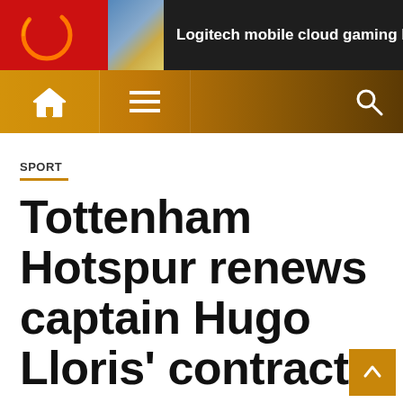Logitech mobile cloud gaming leaks with Android a
[Figure (screenshot): Website navigation bar with home icon, hamburger menu, and search icon on a dark gold/brown gradient background]
SPORT
Tottenham Hotspur renews captain Hugo Lloris' contract